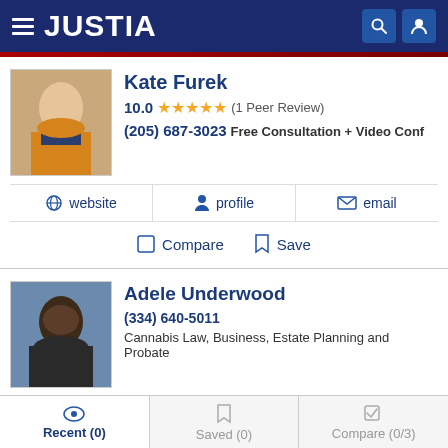JUSTIA
Kate Furek
10.0 ★★★★★ (1 Peer Review)
(205) 687-3023 Free Consultation + Video Conf
website  profile  email
Compare  Save
Adele Underwood
(334) 640-5011
Cannabis Law, Business, Estate Planning and Probate
website  profile  email
Recent (0)  Saved (0)  Compare (0/3)